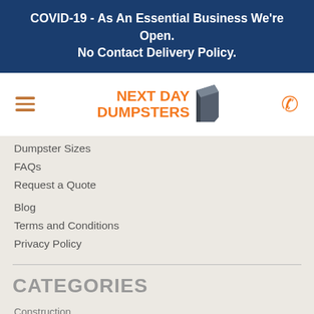COVID-19 - As An Essential Business We're Open. No Contact Delivery Policy.
[Figure (logo): Next Day Dumpsters logo with orange text and dark grey dumpster graphic]
Dumpster Sizes
FAQs
Request a Quote
Blog
Terms and Conditions
Privacy Policy
CATEGORIES
Construction
DIY